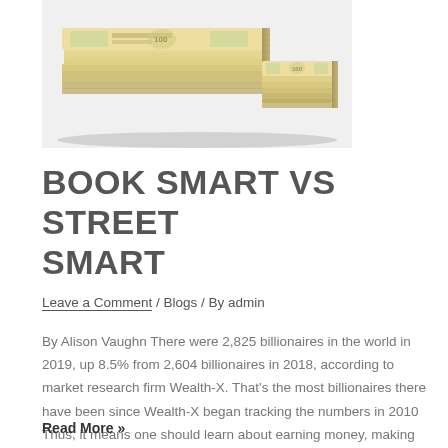[Figure (photo): Stacks of US $100 dollar bills bundled together, viewed from above at an angle, on a white background.]
BOOK SMART VS STREET SMART
Leave a Comment / Blogs / By admin
By Alison Vaughn There were 2,825 billionaires in the world in 2019, up 8.5% from 2,604 billionaires in 2018, according to market research firm Wealth-X. That's the most billionaires there have been since Wealth-X began tracking the numbers in 2010 Thus, it means one should learn about earning money, making money and becoming a millionaire ...
Read More »